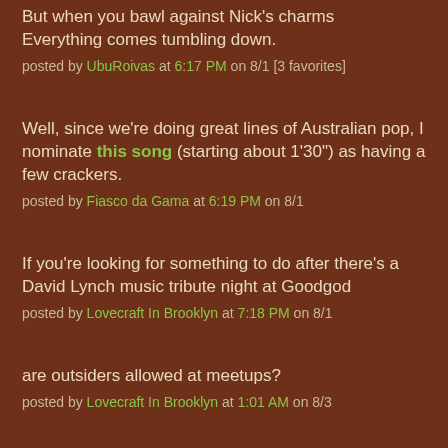But when you bawl against Nick's charms
Everything comes tumbling down.
posted by UbuRoivas at 6:17 PM on 8/1 [3 favorites]
Well, since we're doing great lines of Australian pop, I nominate this song (starting about 1'30") as having a few crackers.
posted by Fiasco da Gama at 6:19 PM on 8/1
If you're looking for something to do after there's a David Lynch music tribute night at Goodgod
posted by Lovecraft In Brooklyn at 7:18 PM on 8/1
are outsiders allowed at meetups?
posted by Lovecraft In Brooklyn at 1:01 AM on 8/3